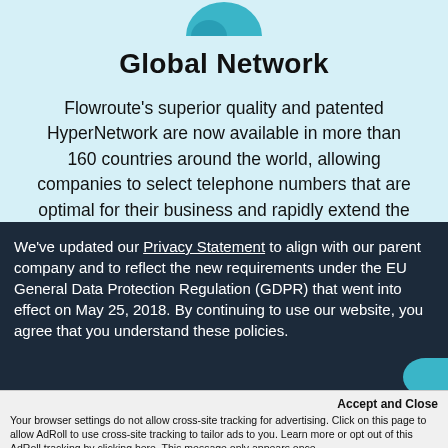[Figure (illustration): Partial teal/blue circular graphic visible at top of light blue section]
Global Network
Flowroute’s superior quality and patented HyperNetwork are now available in more than 160 countries around the world, allowing companies to select telephone numbers that are optimal for their business and rapidly extend the reach of their
We’ve updated our Privacy Statement to align with our parent company and to reflect the new requirements under the EU General Data Protection Regulation (GDPR) that went into effect on May 25, 2018. By continuing to use our website, you agree that you understand these policies.
Accept and Close
Your browser settings do not allow cross-site tracking for advertising. Click on this page to allow AdRoll to use cross-site tracking to tailor ads to you. Learn more or opt out of this AdRoll tracking by clicking here. This message only appears once.